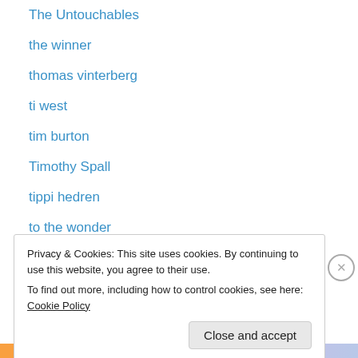The Untouchables
the winner
thomas vinterberg
ti west
tim burton
Timothy Spall
tippi hedren
to the wonder
Tolkien
Tom Cruise
Tom Hardy
tommy lee jones
Toni Collette
Privacy & Cookies: This site uses cookies. By continuing to use this website, you agree to their use.
To find out more, including how to control cookies, see here: Cookie Policy